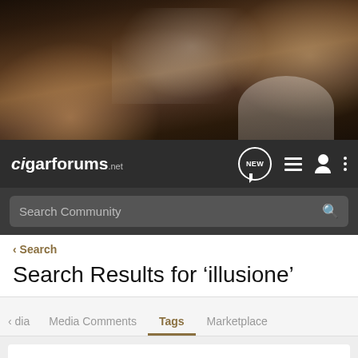[Figure (photo): Close-up photo of a man smoking a cigar, with smoke rising, dark moody background]
cigarforums.net
Search Community
< Search
Search Results for ‘illusione’
dia  Media Comments  Tags  Marketplace
Search Tags
x illusione  Search